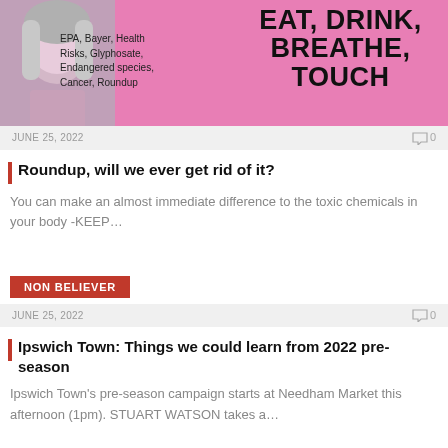[Figure (photo): Article thumbnail showing a woman's face on pink background with text EAT, DRINK, BREATHE, TOUCH and keywords EPA, Bayer, Health Risks, Glyphosate, Endangered species, Cancer, Roundup]
JUNE 25, 2022   0
Roundup, will we ever get rid of it?
You can make an almost immediate difference to the toxic chemicals in your body -KEEP…
NON BELIEVER
JUNE 25, 2022   0
Ipswich Town: Things we could learn from 2022 pre-season
Ipswich Town's pre-season campaign starts at Needham Market this afternoon (1pm). STUART WATSON takes a…